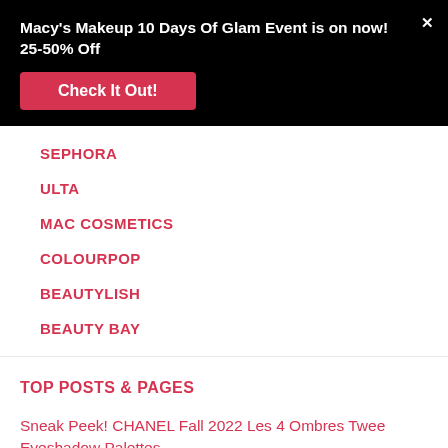Macy's Makeup 10 Days Of Glam Event is on now! 25-50% Off
Check It Out!
SEPHORA
ULTA
MAC COSMETICS
COLOURPOP
BEAUTYLISH
BEAUTY BAY
TOP POSTS & PAGES
Sneak Peek! CHANEL Fall 2022 Les 4 Ombres Twee Eyeshadow Palettes